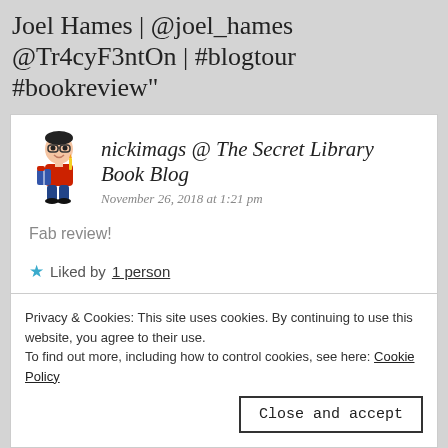Joel Hames | @joel_hames @Tr4cyF3ntOn | #blogtour #bookreview"
nickimags @ The Secret Library Book Blog
November 26, 2018 at 1:21 pm

Fab review!

★ Liked by 1 person
Log in to Reply
Privacy & Cookies: This site uses cookies. By continuing to use this website, you agree to their use.
To find out more, including how to control cookies, see here: Cookie Policy

Close and accept